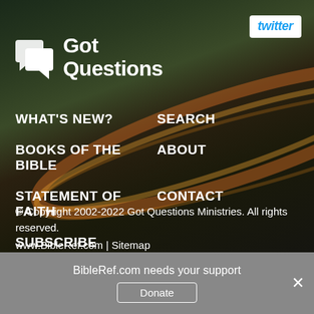[Figure (logo): Got Questions logo with speech bubble icon in white and bold white text 'Got Questions']
[Figure (logo): Twitter button - white rounded rectangle with cyan italic 'twitter' text]
WHAT'S NEW?
SEARCH
BOOKS OF THE BIBLE
ABOUT
STATEMENT OF FAITH
CONTACT
SUBSCRIBE
© Copyright 2002-2022 Got Questions Ministries. All rights reserved.
www.BibleRef.com  |  Sitemap
THE HOLY BIBLE, NEW INTERNATIONAL VERSION®, NIV® Copyright© 1973, 1978, 1984, 2011 by Biblica®.
BibleRef.com needs your support
Donate